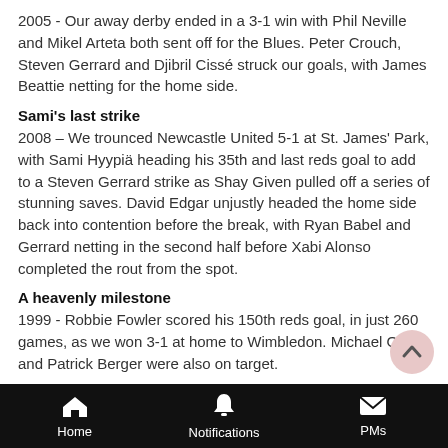2005 - Our away derby ended in a 3-1 win with Phil Neville and Mikel Arteta both sent off for the Blues. Peter Crouch, Steven Gerrard and Djibril Cissé struck our goals, with James Beattie netting for the home side.
Sami's last strike
2008 – We trounced Newcastle United 5-1 at St. James' Park, with Sami Hyypiä heading his 35th and last reds goal to add to a Steven Gerrard strike as Shay Given pulled off a series of stunning saves. David Edgar unjustly headed the home side back into contention before the break, with Ryan Babel and Gerrard netting in the second half before Xabi Alonso completed the rout from the spot.
A heavenly milestone
1999 - Robbie Fowler scored his 150th reds goal, in just 260 games, as we won 3-1 at home to Wimbledon. Michael Owen and Patrick Berger were also on target.
Second time lucky
Home   Notifications   PMs